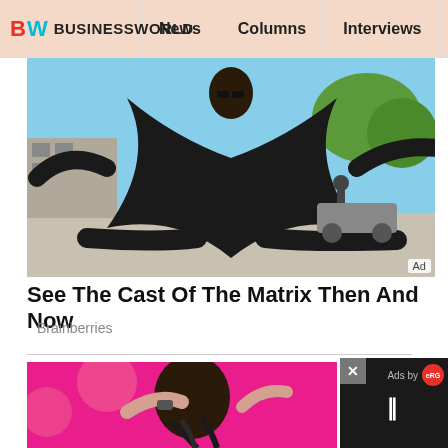BW BUSINESSWORLD | News | Columns | Interviews | BW
[Figure (photo): Person in black coat doing a splits pose on a rooftop, another person visible in background, outdoor sunny scene]
See The Cast Of The Matrix Then And Now
Brainberries
[Figure (photo): Person with dark hair being styled, pink background visible, close-up shot]
[Figure (other): Video ad overlay with close button (x), Ads by eRG logo, and pause button (||) on dark background]